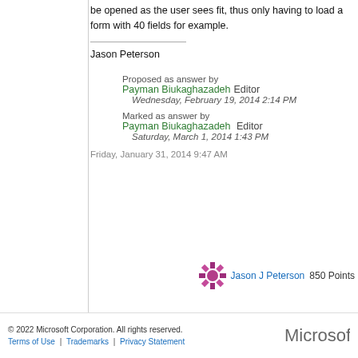be opened as the user sees fit, thus only having to load a form with 40 fields for example.
Jason Peterson
Proposed as answer by Payman Biukaghazadeh Editor
Wednesday, February 19, 2014 2:14 PM
Marked as answer by Payman Biukaghazadeh Editor
Saturday, March 1, 2014 1:43 PM
Friday, January 31, 2014 9:47 AM
Jason J Peterson  850 Points
© 2022 Microsoft Corporation. All rights reserved. | Terms of Use | Trademarks | Privacy Statement | Microsoft